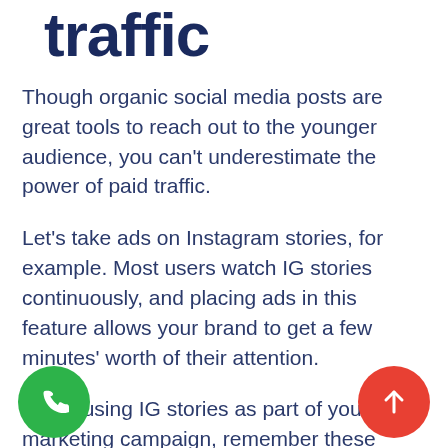traffic
Though organic social media posts are great tools to reach out to the younger audience, you can't underestimate the power of paid traffic.
Let's take ads on Instagram stories, for example. Most users watch IG stories continuously, and placing ads in this feature allows your brand to get a few minutes' worth of their attention.
When using IG stories as part of your marketing campaign, remember these three factors:
Value. The audience should feel like they're getting something out of your